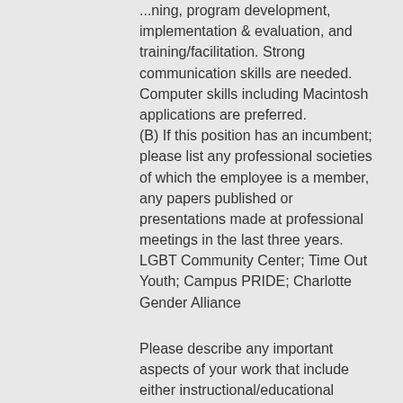...ning, program development, implementation & evaluation, and training/facilitation. Strong communication skills are needed. Computer skills including Macintosh applications are preferred. (B) If this position has an incumbent; please list any professional societies of which the employee is a member, any papers published or presentations made at professional meetings in the last three years. LGBT Community Center; Time Out Youth; Campus PRIDE; Charlotte Gender Alliance
Please describe any important aspects of your work that include either instructional/educational duties or research services that have not been described in response to